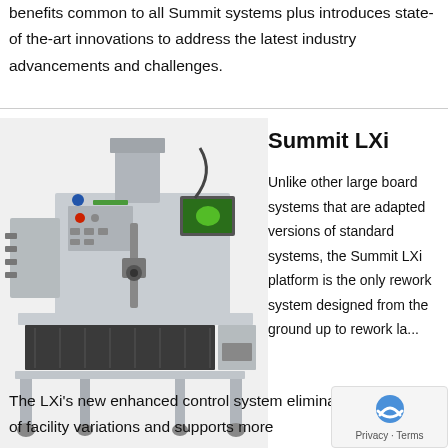benefits common to all Summit systems plus introduces state-of the-art innovations to address the latest industry advancements and challenges.
[Figure (photo): Photo of Summit LXi large board rework system — a large grey industrial machine with a flat work table, mounted arm, monitor screen, and rolling casters]
Summit LXi
Unlike other large board systems that are adapted versions of standard systems, the Summit LXi platform is the only rework system designed from the ground up to rework la...
The LXi's new enhanced control system eliminates the effects of facility variations and supports more